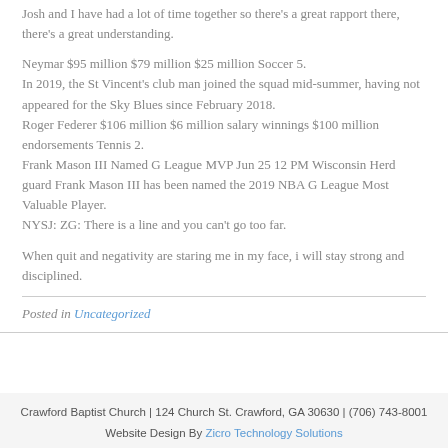Josh and I have had a lot of time together so there's a great rapport there, there's a great understanding.
Neymar $95 million $79 million $25 million Soccer 5. In 2019, the St Vincent's club man joined the squad mid-summer, having not appeared for the Sky Blues since February 2018. Roger Federer $106 million $6 million salary winnings $100 million endorsements Tennis 2. Frank Mason III Named G League MVP Jun 25 12 PM Wisconsin Herd guard Frank Mason III has been named the 2019 NBA G League Most Valuable Player. NYSJ: ZG: There is a line and you can't go too far.
When quit and negativity are staring me in my face, i will stay strong and disciplined.
Posted in Uncategorized
Crawford Baptist Church | 124 Church St. Crawford, GA 30630 | (706) 743-8001
Website Design By Zicro Technology Solutions